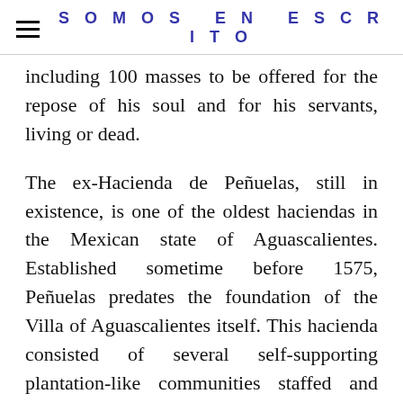SOMOS EN ESCRITO
including 100 masses to be offered for the repose of his soul and for his servants, living or dead.
The ex-Hacienda de Peñuelas, still in existence, is one of the oldest haciendas in the Mexican state of Aguascalientes. Established sometime before 1575, Peñuelas predates the foundation of the Villa of Aguascalientes itself. This hacienda consisted of several self-supporting plantation-like communities staffed and farmed by resident Indians and slaves.
The Cathedral Nuestra Señora de la